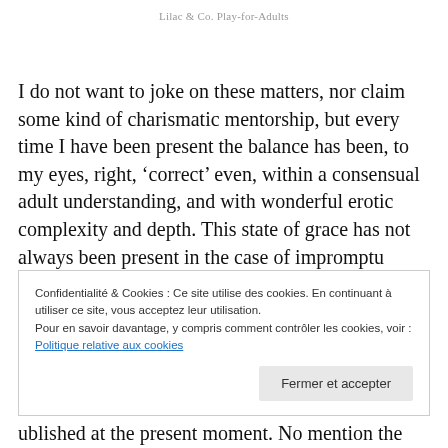Lilac & Co. Play-for-Adults
I do not want to joke on these matters, nor claim some kind of charismatic mentorship, but every time I have been present the balance has been, to my eyes, right, ‘correct’ even, within a consensual adult understanding, and with wonderful erotic complexity and depth. This state of grace has not always been present in the case of impromptu
Confidentialité & Cookies : Ce site utilise des cookies. En continuant à utiliser ce site, vous acceptez leur utilisation.
Pour en savoir davantage, y compris comment contrôler les cookies, voir :
Politique relative aux cookies
Fermer et accepter
ublished at the present moment. No mention the printed and